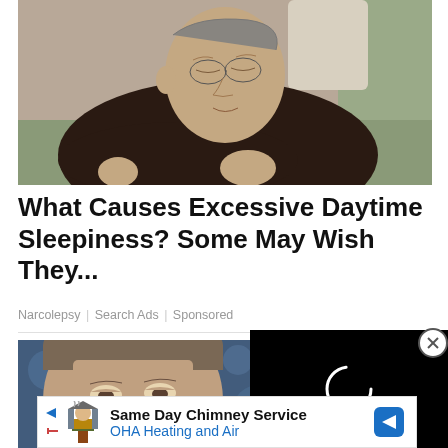[Figure (photo): Elderly man sleeping in an armchair with arms crossed, wearing a dark knit sweater and plaid shirt]
What Causes Excessive Daytime Sleepiness? Some May Wish They...
Narcolepsy | Search Ads | Sponsored
[Figure (photo): Close-up of a man's face looking downward, blurred blue background]
[Figure (screenshot): Black video player overlay with white loading spinner ring]
Same Day Chimney Service OHA Heating and Air